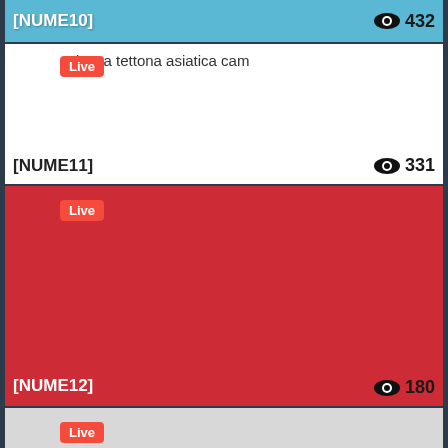[Figure (screenshot): Partial live stream card with blue background, label [NUME10], viewer count 432]
[Figure (screenshot): Live stream card with white background, title 'danza tettona asiatica cam', Live badge, label [NUME11], viewer count 331]
[Figure (screenshot): Live stream card with red background, Live badge, label [NUME12], viewer count 180]
[Figure (screenshot): Partial live stream card with light gray background, Live badge, bottom cut off]